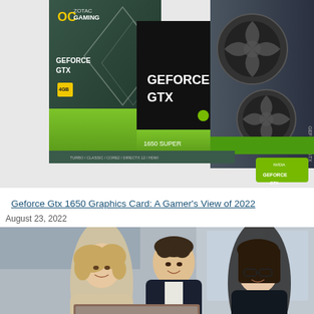[Figure (photo): Zotac GeForce GTX 1650 Super gaming graphics card box and card hardware product photo with NVIDIA branding, green and black design, showing 4GB GDDR6 memory]
Geforce Gtx 1650 Graphics Card: A Gamer's View of 2022
August 23, 2022
[Figure (photo): Three business professionals (two women and one man) looking at a laptop together in a modern office setting with large windows]